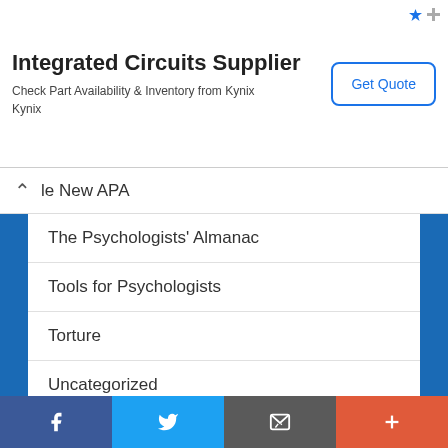[Figure (screenshot): Advertisement banner for Integrated Circuits Supplier - Kynix, with Get Quote button]
le New APA
The Psychologists' Almanac
Tools for Psychologists
Torture
Uncategorized
WAIS-V
WISC-VI
Meta
Log in